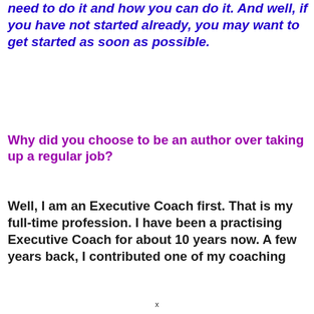need to do it and how you can do it. And well, if you have not started already, you may want to get started as soon as possible.
Why did you choose to be an author over taking up a regular job?
Well, I am an Executive Coach first. That is my full-time profession. I have been a practising Executive Coach for about 10 years now. A few years back, I contributed one of my coaching
x